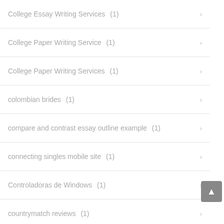College Essay Writing Services (1)
College Paper Writing Service (1)
College Paper Writing Services (1)
colombian brides (1)
compare and contrast essay outline example (1)
connecting singles mobile site (1)
Controladoras de Windows (1)
countrymatch reviews (1)
cover letter writing service (1)
Credits (1)
croatian singles (1)
Crypto Casinos (1)